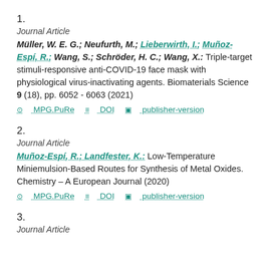1.
Journal Article
Müller, W. E. G.; Neufurth, M.; Lieberwirth, I.; Muñoz-Espí, R.; Wang, S.; Schröder, H. C.; Wang, X.: Triple-target stimuli-responsive anti-COVID-19 face mask with physiological virus-inactivating agents. Biomaterials Science 9 (18), pp. 6052 - 6063 (2021)
MPG.PuRe   DOI   publisher-version
2.
Journal Article
Muñoz-Espí, R.; Landfester, K.: Low-Temperature Miniemulsion-Based Routes for Synthesis of Metal Oxides. Chemistry – A European Journal (2020)
MPG.PuRe   DOI   publisher-version
3.
Journal Article